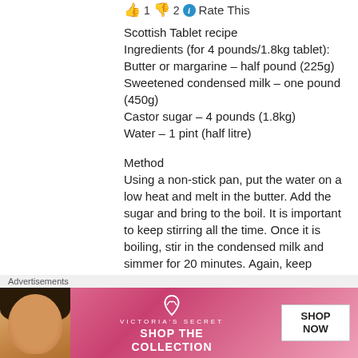👍 1 👎 2 ℹ Rate This
Scottish Tablet recipe
Ingredients (for 4 pounds/1.8kg tablet):
Butter or margarine – half pound (225g)
Sweetened condensed milk – one pound (450g)
Castor sugar – 4 pounds (1.8kg)
Water – 1 pint (half litre)
Method
Using a non-stick pan, put the water on a low heat and melt in the butter. Add the sugar and bring to the boil. It is important to keep stirring all the time. Once it is boiling, stir in the condensed milk and simmer for 20 minutes. Again, keep stirring to avoid it sticking/burning. Take off the heat and beat vigorously for five minutes, adding the flavouring of your choice. Pour into a
Advertisements
[Figure (photo): Victoria's Secret advertisement banner with a model and text: SHOP THE COLLECTION, SHOP NOW]